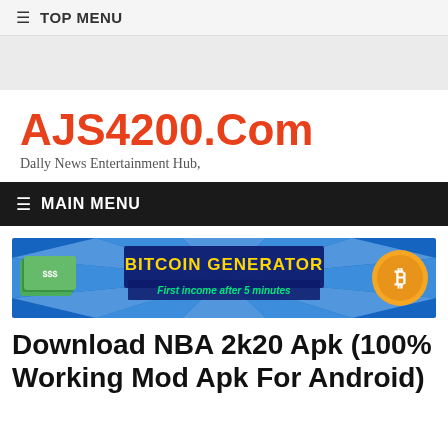☰ TOP MENU
AJS4200.Com
Dally News Entertainment Hub,
☰ MAIN MENU
[Figure (illustration): Bitcoin Generator advertisement banner with blue starburst background, stack of money on left, Bitcoin coin on right, text 'BITCOIN GENERATOR' in yellow on dark blue background, subtitle 'First income after 5 minutes' in green]
Download NBA 2k20 Apk (100% Working Mod Apk For Android)